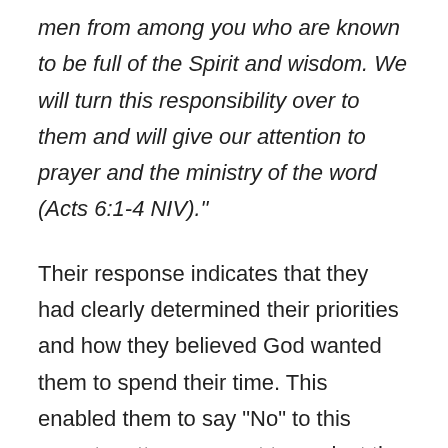men from among you who are known to be full of the Spirit and wisdom. We will turn this responsibility over to them and will give our attention to prayer and the ministry of the word (Acts 6:1-4 NIV)."
Their response indicates that they had clearly determined their priorities and how they believed God wanted them to spend their time. This enabled them to say "No" to this urgent matter so as not to neglect the important work God had uniquely called them to do. Therefore, they chose to delegate this task out to others within the